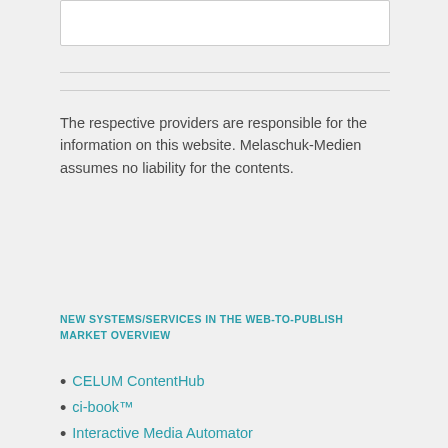The respective providers are responsible for the information on this website. Melaschuk-Medien assumes no liability for the contents.
NEW SYSTEMS/SERVICES IN THE WEB-TO-PUBLISH MARKET OVERVIEW
CELUM ContentHub
ci-book™
Interactive Media Automator